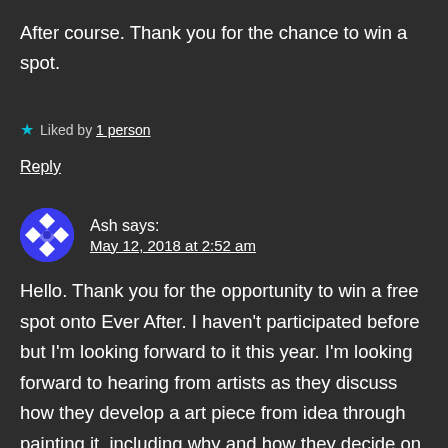After course. Thank you for the chance to win a spot.
★ Liked by 1 person
Reply
Ash says: May 12, 2018 at 2:52 am
Hello. Thank you for the opportunity to win a free spot onto Ever After. I haven't participated before but I'm looking forward to it this year. I'm looking forward to hearing from artists as they discuss how they develop a art piece from idea through painting it, including why and how they decide on elements to enhance the story. Have a great day.